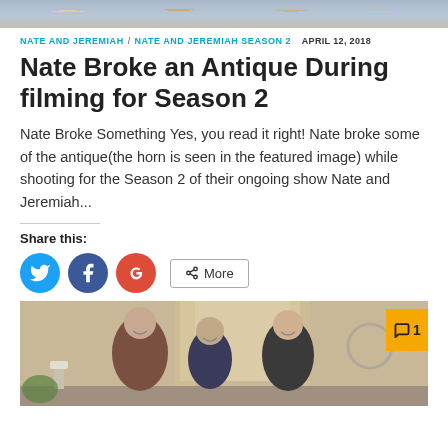[Figure (photo): Top cropped photo showing people, partially visible at top of page]
NATE AND JEREMIAH / NATE AND JEREMIAH SEASON 2   APRIL 12, 2018
Nate Broke an Antique During filming for Season 2
Nate Broke Something Yes, you read it right! Nate broke some of the antique(the horn is seen in the featured image) while shooting for the Season 2 of their ongoing show Nate and Jeremiah...
Share this:
[Figure (screenshot): Social share buttons: Twitter (blue circle), Facebook (dark blue circle), Google+ (red circle), and a More button]
[Figure (photo): Bottom photo showing three men smiling in a living room setting with a comment badge showing '1']